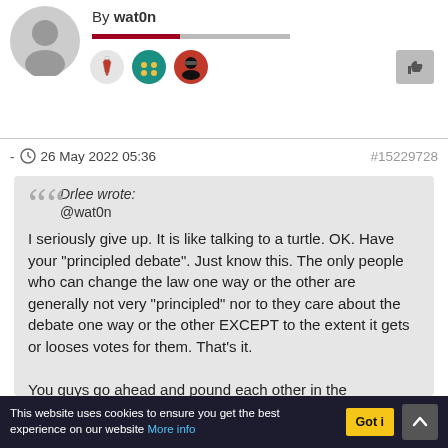[Figure (illustration): Grey circular avatar placeholder with a generic person silhouette icon]
By wat0n
[Figure (illustration): Three badge icons: a red/white tie badge, a teal badge with four dots, and a red badge with a spy/agent head icon]
[Figure (illustration): Thumbs up like button (grey square button with thumbs up icon)]
- 26 May 2022 05:36
#15229728
Drlee wrote:
@wat0n

I seriously give up. It is like talking to a turtle. OK. Have your "principled debate". Just know this. The only people who can change the law one way or the other are generally not very "principled" nor to they care about the debate one way or the other EXCEPT to the extent it gets or looses votes for them. That's it.

You guys go ahead and pound each other in the
This website uses cookies to ensure you get the best experience on our website More info